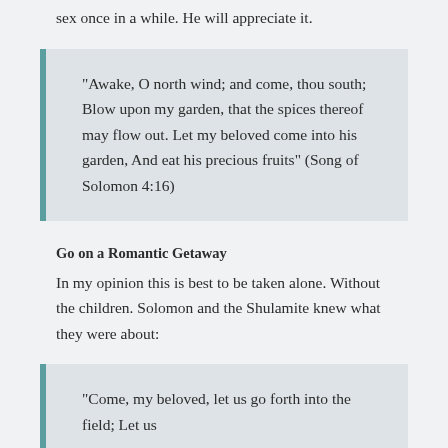sex once in a while. He will appreciate it.
"Awake, O north wind; and come, thou south; Blow upon my garden, that the spices thereof may flow out. Let my beloved come into his garden, And eat his precious fruits" (Song of Solomon 4:16)
Go on a Romantic Getaway
In my opinion this is best to be taken alone. Without the children. Solomon and the Shulamite knew what they were about:
"Come, my beloved, let us go forth into the field; Let us